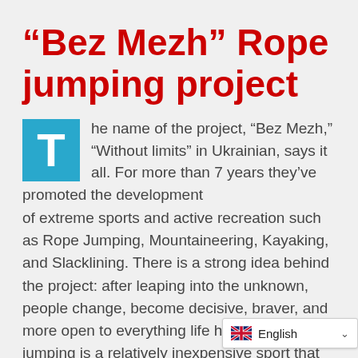“Bez Mezh” Rope jumping project
The name of the project, “Bez Mezh,” “Without limits” in Ukrainian, says it all. For more than 7 years they’ve promoted the development of extreme sports and active recreation such as Rope Jumping, Mountaineering, Kayaking, and Slacklining. There is a strong idea behind the project: after leaping into the unknown, people change, become decisive, braver, and more open to everything life has to offer. Rope jumping is a relatively inexpensive sport that allows one to feel daring with